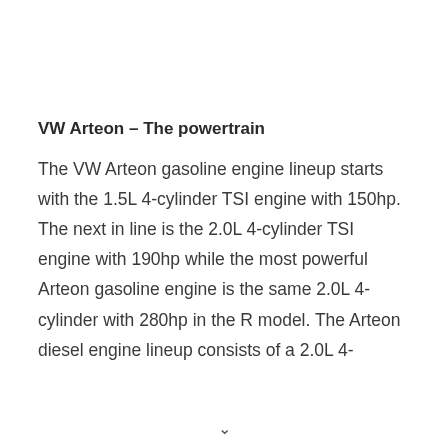VW Arteon – The powertrain
The VW Arteon gasoline engine lineup starts with the 1.5L 4-cylinder TSI engine with 150hp. The next in line is the 2.0L 4-cylinder TSI engine with 190hp while the most powerful Arteon gasoline engine is the same 2.0L 4-cylinder with 280hp in the R model. The Arteon diesel engine lineup consists of a 2.0L 4-